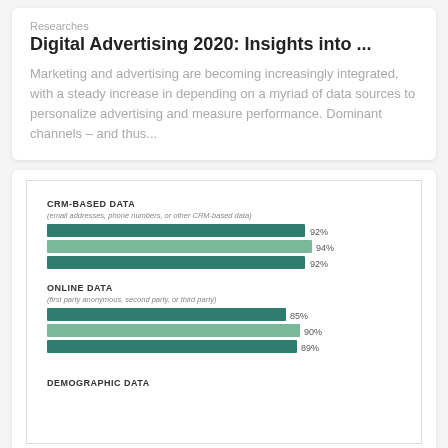Researches
Digital Advertising 2020: Insights into ...
Marketing and advertising are becoming increasingly integrated, with a steady increase in depending on a myriad of data sources to personalize advertising and measure performance. Dominant channels – and thus...
[Figure (bar-chart): CRM-BASED DATA / ONLINE DATA / DEMOGRAPHIC DATA]
Indicators
Demographics Data is The Most Used...
The number of data sources available to inform digital advertising continues to grow. Each contributes to a